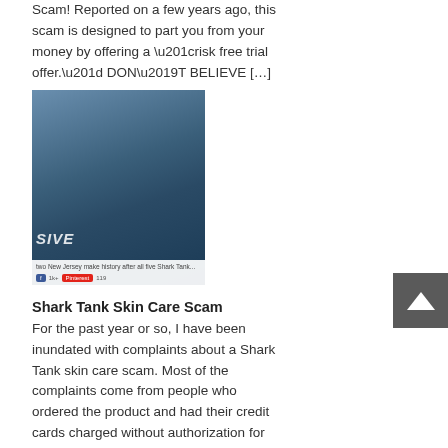Scam! Reported on a few years ago, this scam is designed to part you from your money by offering a “risk free trial offer.” DON’T BELIEVE […]
[Figure (photo): Two blonde women on a TV show set, with text overlay reading 'SIVE' and a caption bar below with small text and social media buttons]
Shark Tank Skin Care Scam
For the past year or so, I have been inundated with complaints about a Shark Tank skin care scam. Most of the complaints come from people who ordered the product and had their credit cards charged without authorization for as much as $109! The so-called “biggest deal in Shark Tank history” is a TOTAL SCAM. […]
Shark Tank Products on Amazon